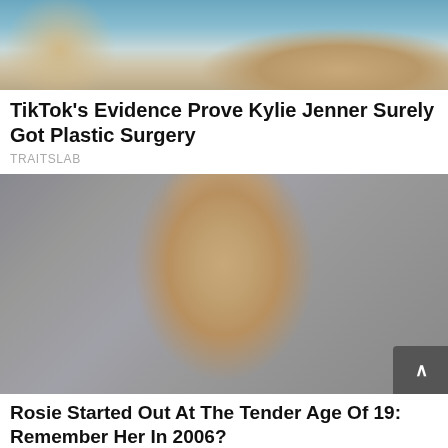[Figure (photo): Woman in silver bikini lying on a boat deck with ocean in background, dark hair, toned body]
TikTok's Evidence Prove Kylie Jenner Surely Got Plastic Surgery
TRAITSLAB
[Figure (photo): Young woman with long blonde-brown hair, blue eyes, gold earrings, against gray background — portrait style photo]
Rosie Started Out At The Tender Age Of 19: Remember Her In 2006?